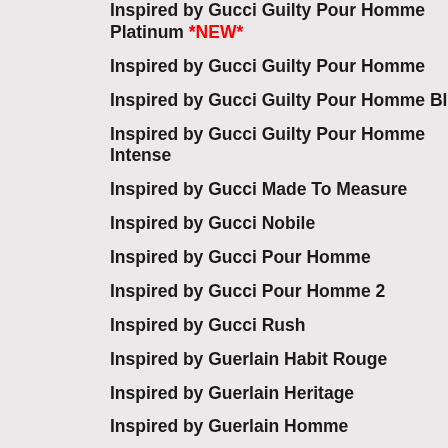Inspired by Gucci Guilty Pour Homme Platinum *NEW*
Inspired by Gucci Guilty Pour Homme
Inspired by Gucci Guilty Pour Homme Black
Inspired by Gucci Guilty Pour Homme Intense
Inspired by Gucci Made To Measure
Inspired by Gucci Nobile
Inspired by Gucci Pour Homme
Inspired by Gucci Pour Homme 2
Inspired by Gucci Rush
Inspired by Guerlain Habit Rouge
Inspired by Guerlain Heritage
Inspired by Guerlain Homme
Inspired by Guerlain Homme L'eau Boisee (Wooded Water) *SALE*
Inspired by Guerlain Imperiale